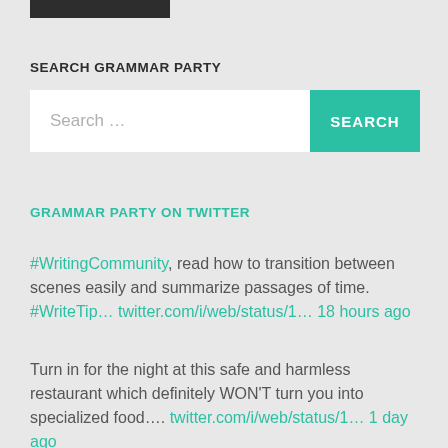SEARCH GRAMMAR PARTY
[Figure (other): Search bar with text input placeholder 'Search ...' and a teal SEARCH button]
GRAMMAR PARTY ON TWITTER
#WritingCommunity, read how to transition between scenes easily and summarize passages of time. #WriteTip… twitter.com/i/web/status/1… 18 hours ago
Turn in for the night at this safe and harmless restaurant which definitely WON'T turn you into specialized food…. twitter.com/i/web/status/1… 1 day ago